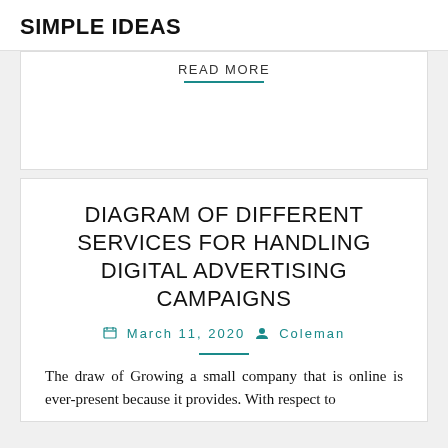SIMPLE IDEAS
READ MORE
DIAGRAM OF DIFFERENT SERVICES FOR HANDLING DIGITAL ADVERTISING CAMPAIGNS
March 11, 2020  Coleman
The draw of Growing a small company that is online is ever-present because it provides. With respect to